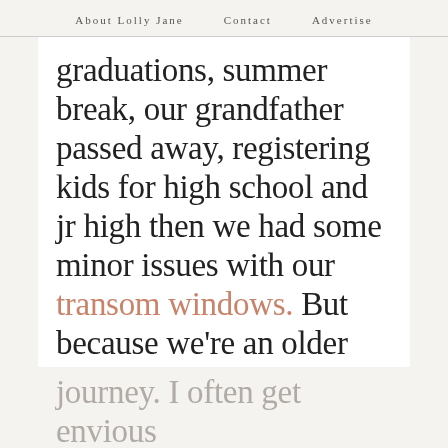About Lolly Jane   Contact   Advertise
graduations, summer break, our grandfather passed away, registering kids for high school and jr high then we had some minor issues with our transom windows. But because we're an older home, I thought it would be fun to share our very slow remodel journey. I often get envious of families who rent or have a newer home...